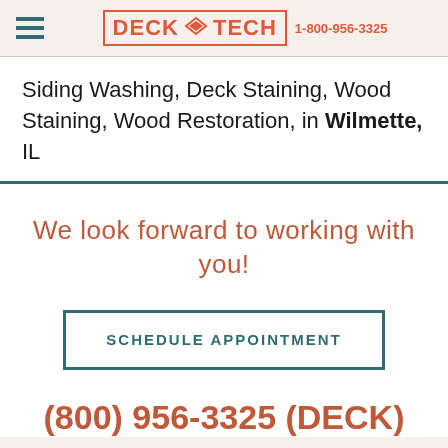DECK TECH 1-800-956-3325
Siding Washing, Deck Staining, Wood Staining, Wood Restoration, in Wilmette, IL
We look forward to working with you!
SCHEDULE APPOINTMENT
(800) 956-3325 (DECK)